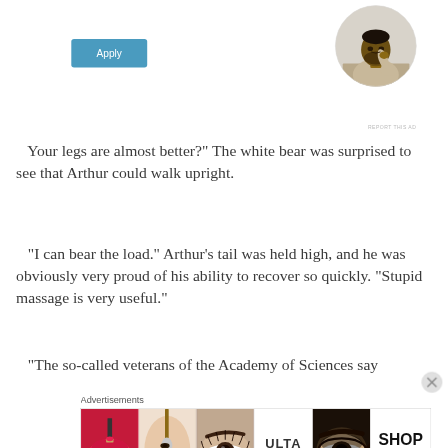[Figure (screenshot): Apply button (blue/teal rounded rectangle) in upper left area]
[Figure (photo): Circular avatar photo of a man sitting at a desk looking upward, wearing a beige shirt]
REPORT THIS AD
Your legs are almost better?" The white bear was surprised to see that Arthur could walk upright.
“I can bear the load.” Arthur’s tail was held high, and he was obviously very proud of his ability to recover so quickly. “Stupid massage is very useful.”
“The so-called veterans of the Academy of Sciences say
Advertisements
[Figure (screenshot): Ulta Beauty advertisement banner showing close-up images of makeup looks (lips, eye with brush, eyebrow, Ulta logo, eye with dramatic makeup) and a 'SHOP NOW' call to action]
REPORT THIS AD